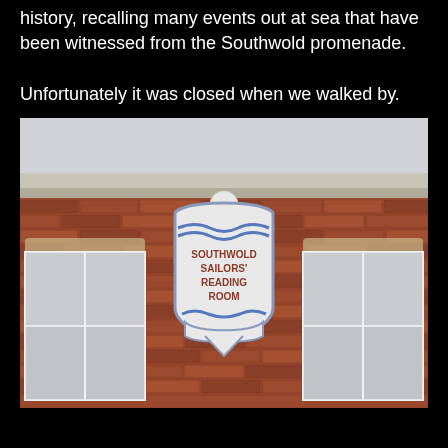history, recalling many events out at sea that have been witnessed from the Southwold promenade.
Unfortunately it was closed when we walked by.
[Figure (photo): Photograph of the upper facade of a red brick building showing a decorative shield-shaped sign reading 'SOUTHWOLD SAILORS' READING ROOM' mounted between two white-framed windows, with a roofline visible at the top.]